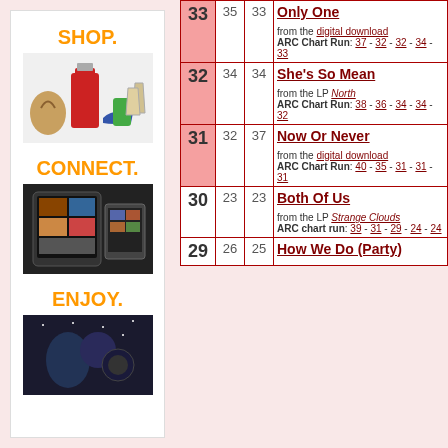[Figure (infographic): Amazon shop/connect/enjoy advertisement panel with SHOP., CONNECT., ENJOY. labels in orange and product images]
| Rank | LW | PW | Song Info |
| --- | --- | --- | --- |
| 33 | 35 | 33 | Only One | from the digital download | ARC Chart Run: 37 - 32 - 32 - 34 - 33 |
| 32 | 34 | 34 | She's So Mean | from the LP North | ARC Chart Run: 38 - 36 - 34 - 34 - 32 |
| 31 | 32 | 37 | Now Or Never | from the digital download | ARC Chart Run: 40 - 35 - 31 - 31 - 31 |
| 30 | 23 | 23 | Both Of Us | from the LP Strange Clouds | ARC chart run: 39 - 31 - 29 - 24 - 24 |
| 29 | 26 | 25 | How We Do (Party) |